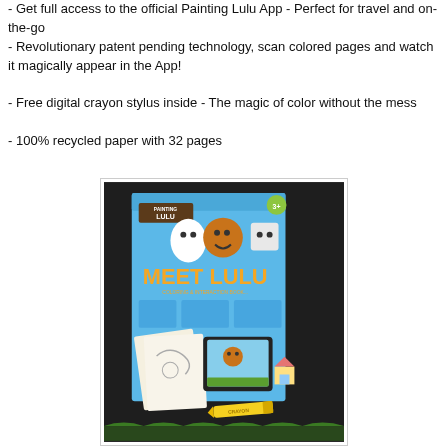- Get full access to the official Painting Lulu App - Perfect for travel and on-the-go
- Revolutionary patent pending technology, scan colored pages and watch it magically appear in the App!
- Free digital crayon stylus inside - The magic of color without the mess
- 100% recycled paper with 32 pages
[Figure (photo): Photo of the Painting Lulu 'Meet Lulu' coloring book product box with a yellow crayon and tablet showing the app, on a dark background.]